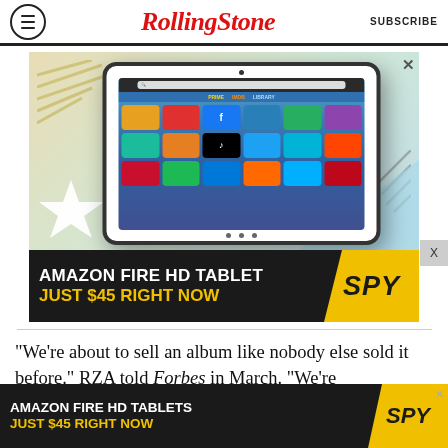Rolling Stone — SUBSCRIBE
[Figure (screenshot): Advertisement showing Amazon Fire HD Tablet with app icons on screen, colorful geometric background with diagonal lines and star shape. Bottom banner reads: AMAZON FIRE HD TABLET JUST $45 RIGHT NOW with SPY logo on yellow background.]
“We’re about to sell an album like nobody else sold it before.” RZA told Forbes in March. “We’re
[Figure (screenshot): Bottom advertisement bar: AMAZON FIRE HD TABLETS JUST $45 RIGHT NOW with SPY logo on yellow background.]